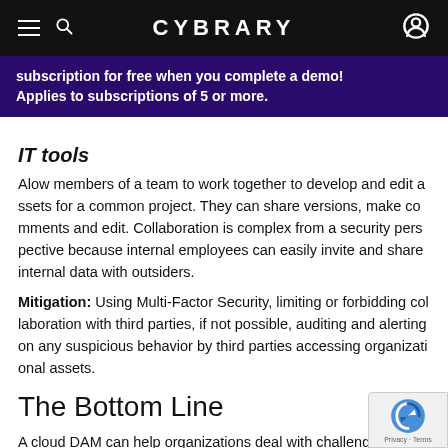CYBRARY
subscription for free when you complete a demo! Applies to subscriptions of 5 or more.
IT tools
Alow members of a team to work together to develop and edit assets for a common project. They can share versions, make comments and edit. Collaboration is complex from a security perspective because internal employees can easily invite and share internal data with outsiders.
Mitigation: Using Multi-Factor Security, limiting or forbidding collaboration with third parties, if not possible, auditing and alerting on any suspicious behavior by third parties accessing organizational assets.
The Bottom Line
A cloud DAM can help organizations deal with challenges as a shortage of storage space, teams that are distributed across regions, and digital assets security. A cloud digital asset mana